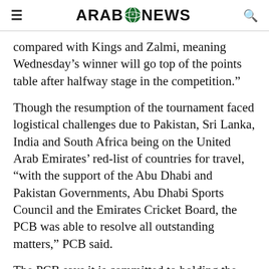ARAB NEWS
compared with Kings and Zalmi, meaning Wednesday’s winner will go top of the points table after halfway stage in the competition.”
Though the resumption of the tournament faced logistical challenges due to Pakistan, Sri Lanka, India and South Africa being on the United Arab Emirates’ red-list of countries for travel, “with the support of the Abu Dhabi and Pakistan Governments, Abu Dhabi Sports Council and the Emirates Cricket Board, the PCB was able to resolve all outstanding matters,” PCB said.
The PCB says it is committed to holding the 2022 tournament in Pakistan.
A number of leading international stars will be